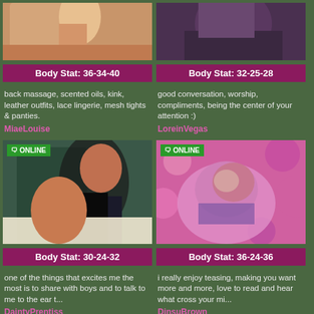[Figure (photo): Top-left profile photo (partial body shot, warm tones)]
[Figure (photo): Top-right profile photo (partial body shot, dark purple tones)]
Body Stat: 36-34-40
Body Stat: 32-25-28
back massage, scented oils, kink, leather outfits, lace lingerie, mesh tights & panties.
good conversation, worship, compliments, being the center of your attention :)
MiaeLouise
LoreinVegas
[Figure (photo): Mid-left profile photo woman in black dress lying on bed, ONLINE badge]
[Figure (photo): Mid-right profile photo woman with purple hair in pink outfit among balloons, ONLINE badge]
Body Stat: 30-24-32
Body Stat: 36-24-36
one of the things that excites me the most is to share with boys and to talk to me to the ear t...
i really enjoy teasing, making you want more and more, love to read and hear what cross your mi...
DaintyPrentiss
DinsuBrown
[Figure (photo): Bottom-left profile photo with ONLINE badge]
[Figure (photo): Bottom-right profile photo with ONLINE badge]